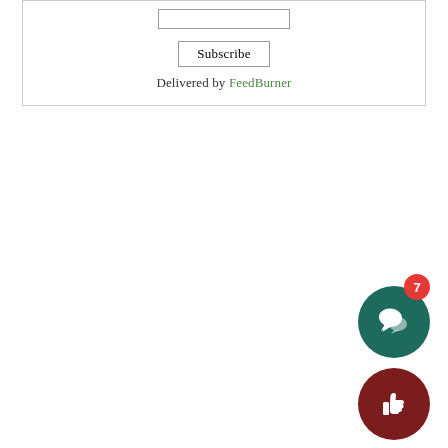[Figure (screenshot): Subscribe widget with an input field, Subscribe button, and 'Delivered by FeedBurner' text in a bordered box]
[Figure (infographic): Dark teal circular chat bubble icon button with a red notification badge showing the number 7, and a dark red circular thumbs-up icon button below it]